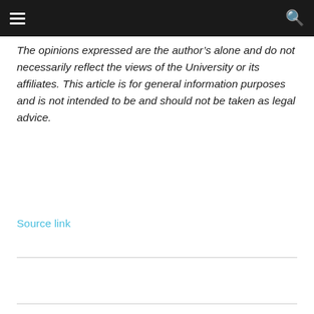The opinions expressed are the author’s alone and do not necessarily reflect the views of the University or its affiliates. This article is for general information purposes and is not intended to be and should not be taken as legal advice.
Source link